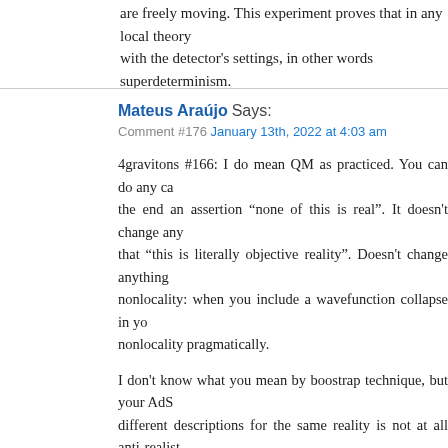are freely moving. This experiment proves that in any local theory with the detector's settings, in other words superdeterminism.
Mateus Araújo Says:
Comment #176 January 13th, 2022 at 4:03 am
4gravitons #166: I do mean QM as practiced. You can do any ca the end an assertion "none of this is real". It doesn't change any that "this is literally objective reality". Doesn't change anything nonlocality: when you include a wavefunction collapse in yo nonlocality pragmatically.
I don't know what you mean by boostrap technique, but your AdS different descriptions for the same reality is not at all anti-realist classical mechanics, which was never accused of anti-realism.
It's funny that you mention QFT, though. In my limited interaction always naïve realists, talking without worry about quantum fields in quantum foundations I see people contorting themselves to representation of our knowledge of future measurement results".
(I do consider QBism anti-realist. Luckily that intellectual void m physicists).